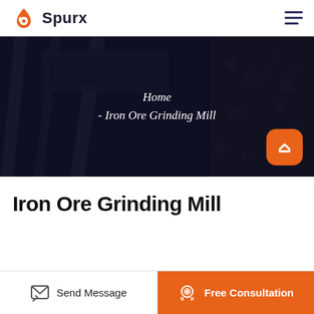Spurx
[Figure (screenshot): Dark industrial/mining equipment background hero banner with overlay showing breadcrumb navigation: Home - Iron Ore Grinding Mill, and an orange scroll-to-top button]
Home
- Iron Ore Grinding Mill
Iron Ore Grinding Mill
Send Message
Free Consultation